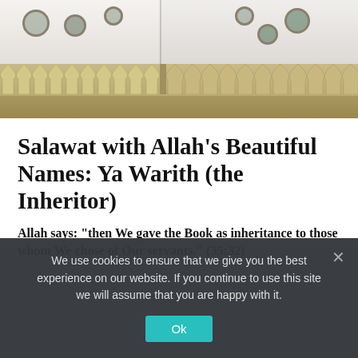[Figure (photo): Photograph of a mosque exterior showing white domed buildings with round windows and a decorative stone parapet/battlements wall in tan/beige stone]
Salawat with Allah's Beautiful Names: Ya Warith (the Inheritor)
Allah says: "then We gave the Book as inheritance to those whom We chose of Our servants." (35:32)
We use cookies to ensure that we give you the best experience on our website. If you continue to use this site we will assume that you are happy with it.